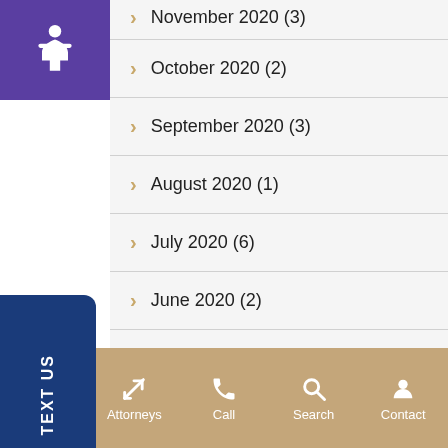November 2020 (3)
October 2020 (2)
September 2020 (3)
August 2020 (1)
July 2020 (6)
June 2020 (2)
May 2020 (3)
Menu | Attorneys | Call | Search | Contact